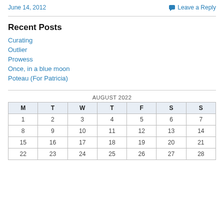June 14, 2012    Leave a Reply
Recent Posts
Curating
Outlier
Prowess
Once, in a blue moon
Poteau (For Patricia)
| M | T | W | T | F | S | S |
| --- | --- | --- | --- | --- | --- | --- |
| 1 | 2 | 3 | 4 | 5 | 6 | 7 |
| 8 | 9 | 10 | 11 | 12 | 13 | 14 |
| 15 | 16 | 17 | 18 | 19 | 20 | 21 |
| 22 | 23 | 24 | 25 | 26 | 27 | 28 |